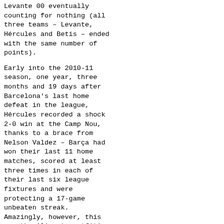Levante 00 eventually counting for nothing (all three teams – Levante, Hércules and Betis – ended with the same number of points).
Early into the 2010-11 season, one year, three months and 19 days after Barcelona's last home defeat in the league, Hércules recorded a shock 2-0 win at the Camp Nou, thanks to a brace from Nelson Valdez – Barça had won their last 11 home matches, scored at least three times in each of their last six league fixtures and were protecting a 17-game unbeaten streak. Amazingly, however, this was the Alicante outfit's third successive win over the Catalans, having won both meetings in their previous top flight campaign 14 years before; after a solid first round of 19 games the team slumped in the table, eventually ranking in 19th position for an immediate relegation back.
In 2013-14 campaign they